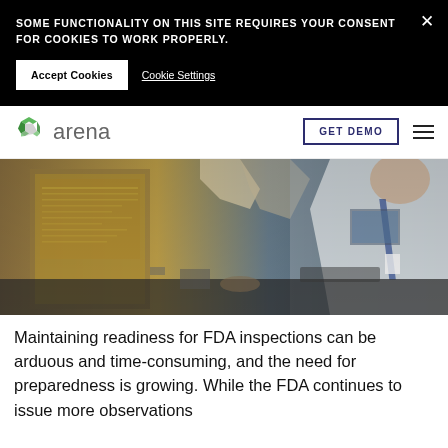SOME FUNCTIONALITY ON THIS SITE REQUIRES YOUR CONSENT FOR COOKIES TO WORK PROPERLY.
Accept Cookies
Cookie Settings
[Figure (logo): Arena logo with green hexagonal icon and grey 'arena' wordmark]
GET DEMO
[Figure (photo): Laboratory scene with a person in a white lab coat working at a computer with industrial equipment in the background]
Maintaining readiness for FDA inspections can be arduous and time-consuming, and the need for preparedness is growing. While the FDA continues to issue more observations